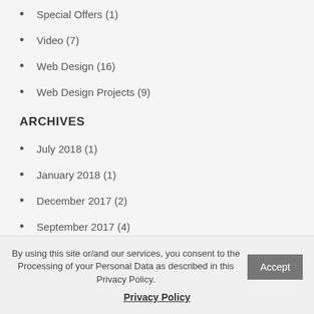Special Offers (1)
Video (7)
Web Design (16)
Web Design Projects (9)
ARCHIVES
July 2018 (1)
January 2018 (1)
December 2017 (2)
September 2017 (4)
August 2017 (2)
June 2017 (2)
May 2017 (1)
By using this site or/and our services, you consent to the Processing of your Personal Data as described in this Privacy Policy.
Accept
Privacy Policy